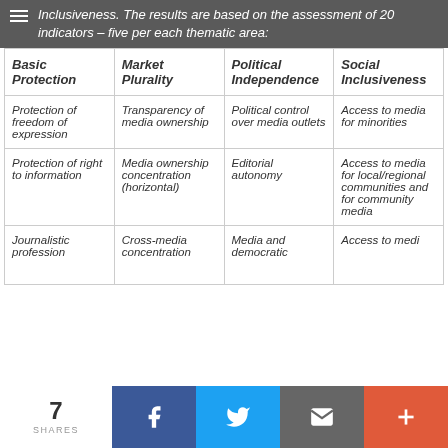Inclusiveness. The results are based on the assessment of 20 indicators – five per each thematic area:
| Basic Protection | Market Plurality | Political Independence | Social Inclusiveness |
| --- | --- | --- | --- |
| Protection of freedom of expression | Transparency of media ownership | Political control over media outlets | Access to media for minorities |
| Protection of right to information | Media ownership concentration (horizontal) | Editorial autonomy | Access to media for local/regional communities and for community media |
| Journalistic profession | Cross-media concentration | Media and democratic | Access to medi… |